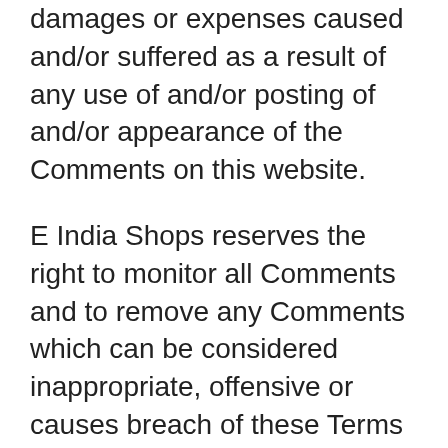damages or expenses caused and/or suffered as a result of any use of and/or posting of and/or appearance of the Comments on this website.
E India Shops reserves the right to monitor all Comments and to remove any Comments which can be considered inappropriate, offensive or causes breach of these Terms and Conditions.
You warrant and represent that:
You are entitled to post the Comments on our website and